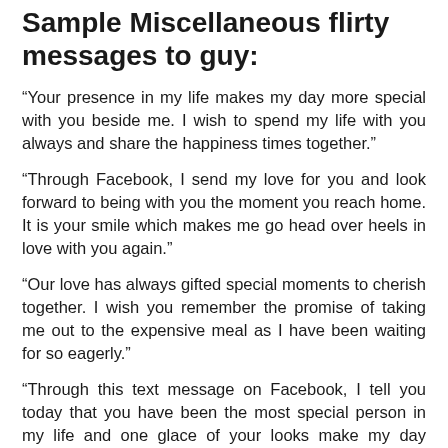Sample Miscellaneous flirty messages to guy:
“Your presence in my life makes my day more special with you beside me. I wish to spend my life with you always and share the happiness times together.”
“Through Facebook, I send my love for you and look forward to being with you the moment you reach home. It is your smile which makes me go head over heels in love with you again.”
“Our love has always gifted special moments to cherish together. I wish you remember the promise of taking me out to the expensive meal as I have been waiting for so eagerly.”
“Through this text message on Facebook, I tell you today that you have been the most special person in my life and one glace of your looks make my day better. ”